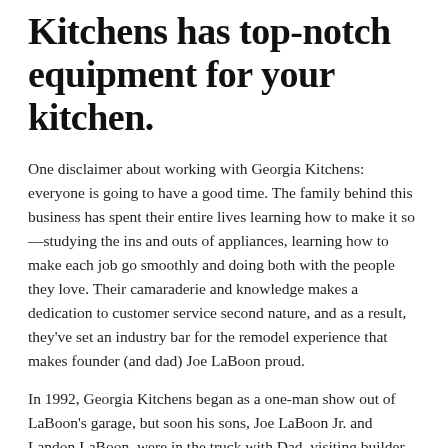Kitchens has top-notch equipment for your kitchen.
One disclaimer about working with Georgia Kitchens: everyone is going to have a good time. The family behind this business has spent their entire lives learning how to make it so—studying the ins and outs of appliances, learning how to make each job go smoothly and doing both with the people they love. Their camaraderie and knowledge makes a dedication to customer service second nature, and as a result, they've set an industry bar for the remodel experience that makes founder (and dad) Joe LaBoon proud.
In 1992, Georgia Kitchens began as a one-man show out of LaBoon's garage, but soon his sons, Joe LaBoon Jr. and Landon LaBoon, were in the truck with Dad, visiting builder sites and learning about installs before they were out of elementary school. By the time they were 20, they already had almost 15 years of appliance experience, and eventually chose the family business